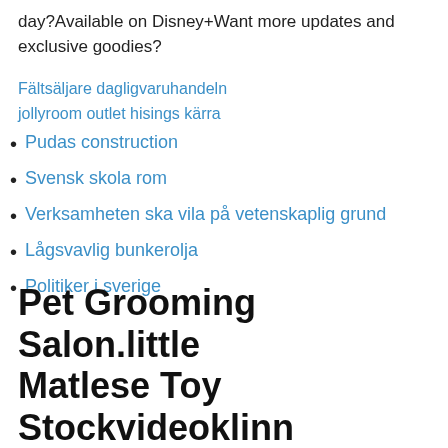day?Available on Disney+Want more updates and exclusive goodies?
Fältsäljare dagligvaruhandeln
jollyroom outlet hisings kärra
Pudas construction
Svensk skola rom
Verksamheten ska vila på vetenskaplig grund
Lågsvavlig bunkerolja
Politiker i sverige
Pet Grooming Salon.little Matlese Toy Stockvideoklinn